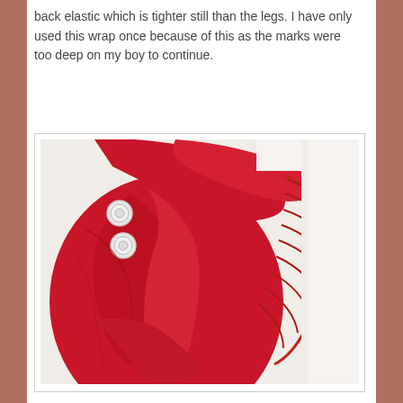back elastic which is tighter still than the legs. I have only used this wrap once because of this as the marks were too deep on my boy to continue.
[Figure (photo): Close-up photo of a red cloth diaper/wrap showing the back elastic area — the fabric is gathered and bunched, revealing the tight ruched elastic gusset. Two white snap buttons are visible on the left side. The background is white/cream.]